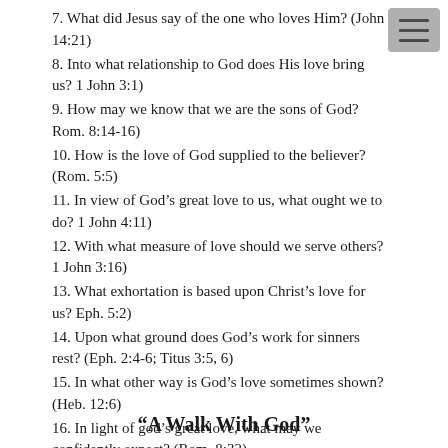7. What did Jesus say of the one who loves Him? (John 14:21)
8. Into what relationship to God does His love bring us? 1 John 3:1)
9. How may we know that we are the sons of God? Rom. 8:14-16)
10. How is the love of God supplied to the believer? (Rom. 5:5)
11. In view of God’s great love to us, what ought we to do? 1 John 4:11)
12. With what measure of love should we serve others? 1 John 3:16)
13. What exhortation is based upon Christ’s love for us? Eph. 5:2)
14. Upon what ground does God’s work for sinners rest? (Eph. 2:4-6; Titus 3:5, 6)
15. In what other way is God’s love sometimes shown? (Heb. 12:6)
16. In light of god’s great love, what may we confidently expect? (Rom. 8:32)
“A Walk With God”